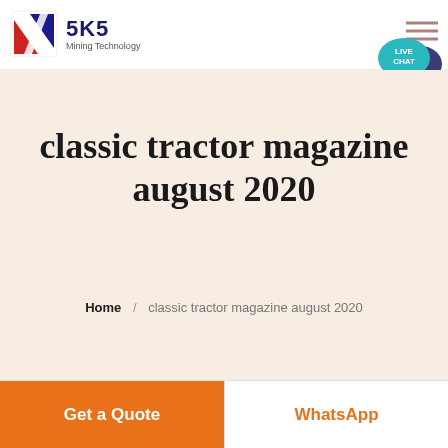[Figure (logo): SKS Mining Technology logo with red and blue shield icon, company name SKS in dark blue, subtitle Mining Technology]
[Figure (infographic): Hamburger menu icon (three horizontal lines) in muted rose/brown color, top right of header]
[Figure (infographic): Live Chat speech bubble icon in teal/dark blue with LIVE CHAT text, top right corner]
classic tractor magazine august 2020
Home / classic tractor magazine august 2020
Get a Quote
WhatsApp